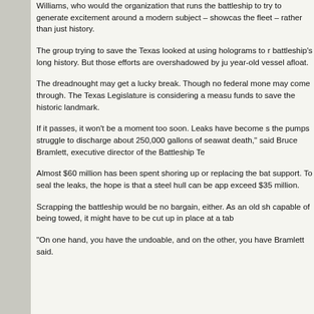Williams, who would the organization that runs the battleship to try to generate excitement around a modern subject – showcasing the fleet – rather than just history.
The group trying to save the Texas looked at using holograms to recreate the battleship's long history. But those efforts are overshadowed by just keeping the year-old vessel afloat.
The dreadnought may get a lucky break. Though no federal money is available, state may come through. The Texas Legislature is considering a measure that would provide funds to save the historic landmark.
If it passes, it won't be a moment too soon. Leaks have become so severe that the pumps struggle to discharge about 250,000 gallons of seawater a day. "It's a slow death," said Bruce Bramlett, executive director of the Battleship Texas Foundation.
Almost $60 million has been spent shoring up or replacing the battleship's structural support. To seal the leaks, the hope is that a steel hull can be applied at a cost not to exceed $35 million.
Scrapping the battleship would be no bargain, either. As an old ship no longer capable of being towed, it might have to be cut up in place at a tab
“On one hand, you have the undoable, and on the other, you have the unaffordable,” Bramlett said.